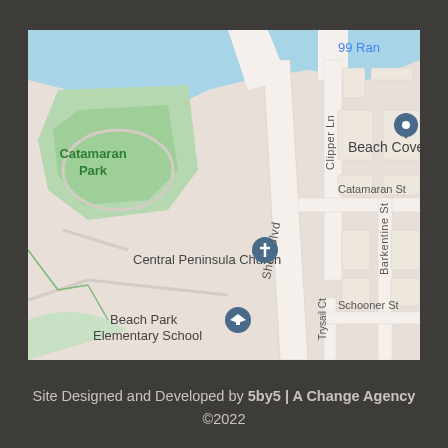[Figure (map): Google Maps screenshot showing Beach Cove area with streets: Clipper Ln, Shell Blvd, Catamaran St, Barkentine St, Trysail Ct, Schooner St. Landmarks: Catamaran Park (green area), Central Peninsula Church (cross marker), Beach Park Elementary School (graduation cap marker), Beach Cove (location pin). Partial text '99 Ran' visible top right.]
Site Designed and Developed by 5by5 | A Change Agency ©2022